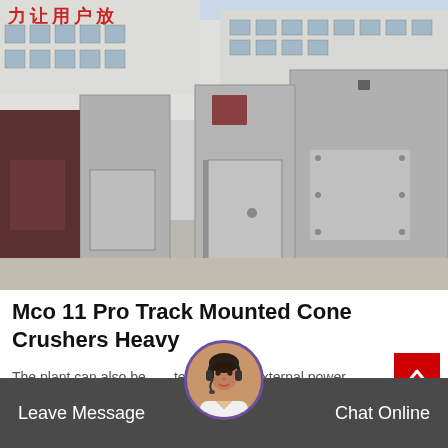[Figure (photo): Photo of large gray industrial metal enclosure boxes/housings stacked outdoors in a factory yard. Chinese characters visible on building in background. Boxes are steel gray with access panels and mounted on red-brown base supports. Building with glass windows visible in background.]
Mco 11 Pro Track Mounted Cone Crushers Heavy
The plant can also be operated using an external power source like a compressor, low maintenance operation, be mobile con...
Leave Message
Chat Online